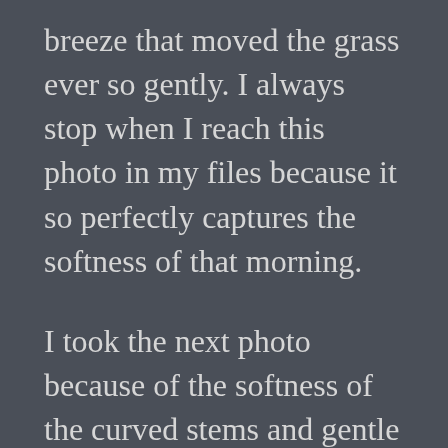breeze that moved the grass ever so gently. I always stop when I reach this photo in my files because it so perfectly captures the softness of that morning.
I took the next photo because of the softness of the curved stems and gentle colors. Once again the short depth of focus creates a blur both in front and behind the main focus, the